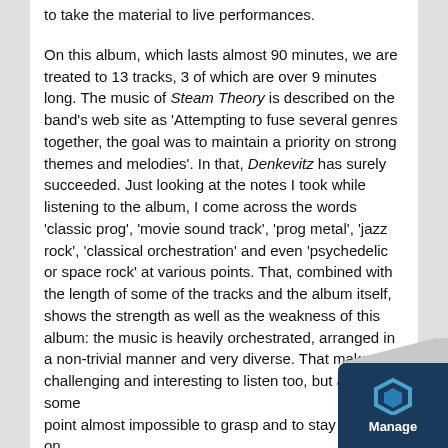to take the material to live performances.
On this album, which lasts almost 90 minutes, we are treated to 13 tracks, 3 of which are over 9 minutes long. The music of Steam Theory is described on the band's web site as 'Attempting to fuse several genres together, the goal was to maintain a priority on strong themes and melodies'. In that, Denkevitz has surely succeeded. Just looking at the notes I took while listening to the album, I come across the words 'classic prog', 'movie sound track', 'prog metal', 'jazz rock', 'classical orchestration' and even 'psychedelic or space rock' at various points. That, combined with the length of some of the tracks and the album itself, shows the strength as well as the weakness of this album: the music is heavily orchestrated, arranged in a non-trivial manner and very diverse. That makes it challenging and interesting to listen too, but also at some point almost impossible to grasp and to stay focused on. But I managed, and if I can do it, there must be more people who can.